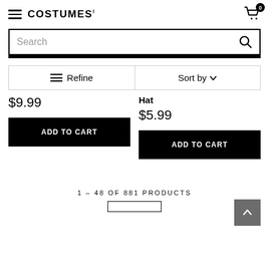COSTUMES (logo) | Cart: 0
Search
≡ Refine | Sort by ∨
$9.99
Hat
$5.99
ADD TO CART
ADD TO CART
1 – 48 OF 881 PRODUCTS